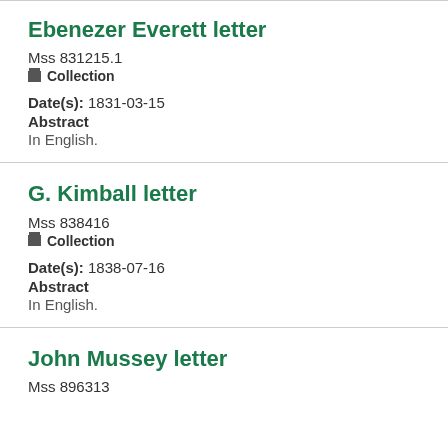Ebenezer Everett letter
Mss 831215.1
Collection
Date(s): 1831-03-15
Abstract
In English.
G. Kimball letter
Mss 838416
Collection
Date(s): 1838-07-16
Abstract
In English.
John Mussey letter
Mss 896313